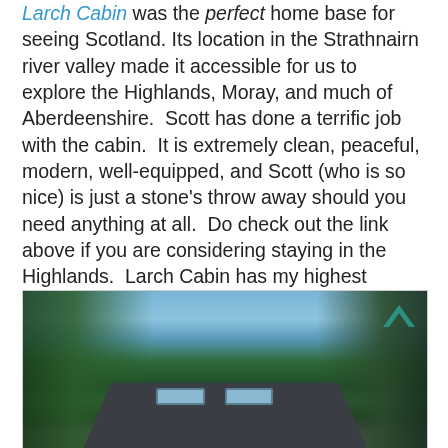Owned by Scott Macdonald, Larch Cabin was the perfect home base for seeing Scotland. Its location in the Strathnairn river valley made it accessible for us to explore the Highlands, Moray, and much of Aberdeenshire.  Scott has done a terrific job with the cabin.  It is extremely clean, peaceful, modern, well-equipped, and Scott (who is so nice) is just a stone's throw away should you need anything at all.  Do check out the link above if you are considering staying in the Highlands.  Larch Cabin has my highest recommendation!
[Figure (photo): Exterior photo of Larch Cabin showing a dark slate roof with two skylights, surrounded by tall pine/larch trees against a blue sky. A teal chevron navigation arrow is visible at the upper right of the image.]